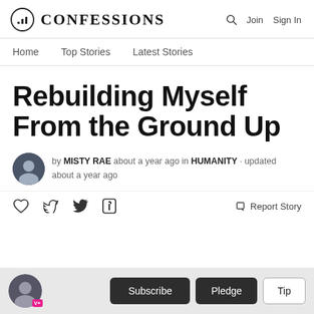CONFESSIONS — Home | Top Stories | Latest Stories — Search | Join | Sign In
Rebuilding Myself From the Ground Up
by MISTY RAE about a year ago in HUMANITY · updated about a year ago
♡  Twitter  Facebook  — Report Story
Subscribe  Pledge  Tip